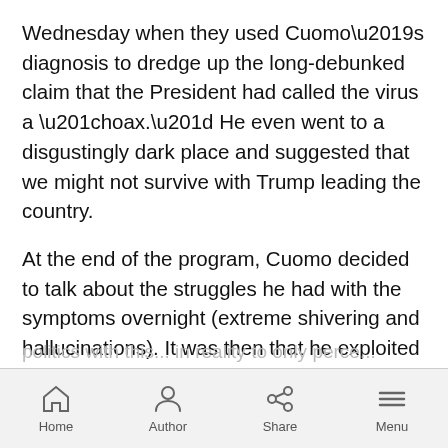Wednesday when they used Cuomo's diagnosis to dredge up the long-debunked claim that the President had called the virus a “hoax.” He even went to a disgustingly dark place and suggested that we might not survive with Trump leading the country.
At the end of the program, Cuomo decided to talk about the struggles he had with the symptoms overnight (extreme shivering and hallucinations). It was then that he exploited his condition.
“I wish had gotten this virus a month ago,” he proclaimed. “And I’ll tell you why. I wish I would have had it then so I could have told you then this is no joke. We are sleeping on something, and it is a mistake. And
Home  Author  Share  Menu